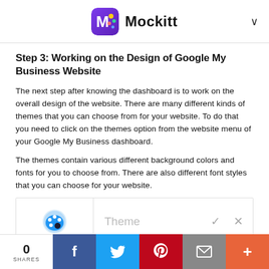Mockitt
Step 3: Working on the Design of Google My Business Website
The next step after knowing the dashboard is to work on the overall design of the website. There are many different kinds of themes that you can choose from for your website. To do that you need to click on the themes option from the website menu of your Google My Business dashboard.
The themes contain various different background colors and fonts for you to choose from. There are also different font styles that you can choose for your website.
[Figure (screenshot): A UI screenshot showing a palette icon on the left and a 'Theme' option with check and X icons on the right, representing the Google My Business theme selection interface.]
0 SHARES | Facebook | Twitter | Pinterest | Email | More